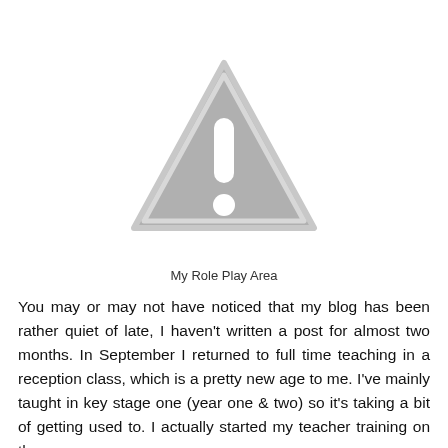[Figure (illustration): A grey warning/caution triangle icon with an exclamation mark inside, indicating a missing or unavailable image placeholder.]
My Role Play Area
You may or may not have noticed that my blog has been rather quiet of late, I haven't written a post for almost two months. In September I returned to full time teaching in a reception class, which is a pretty new age to me. I've mainly taught in key stage one (year one & two) so it's taking a bit of getting used to. I actually started my teacher training on the